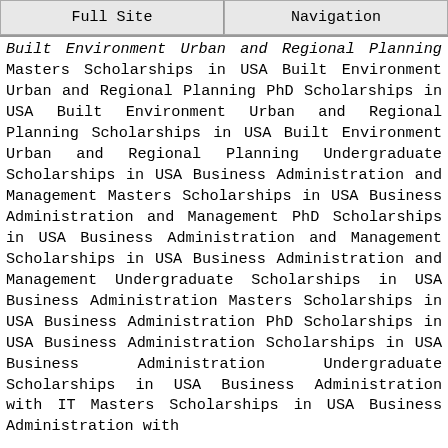Full Site | Navigation
Built Environment Urban and Regional Planning Masters Scholarships in USA Built Environment Urban and Regional Planning PhD Scholarships in USA Built Environment Urban and Regional Planning Scholarships in USA Built Environment Urban and Regional Planning Undergraduate Scholarships in USA Business Administration and Management Masters Scholarships in USA Business Administration and Management PhD Scholarships in USA Business Administration and Management Scholarships in USA Business Administration and Management Undergraduate Scholarships in USA Business Administration Masters Scholarships in USA Business Administration PhD Scholarships in USA Business Administration Scholarships in USA Business Administration Undergraduate Scholarships in USA Business Administration with IT Masters Scholarships in USA Business Administration with